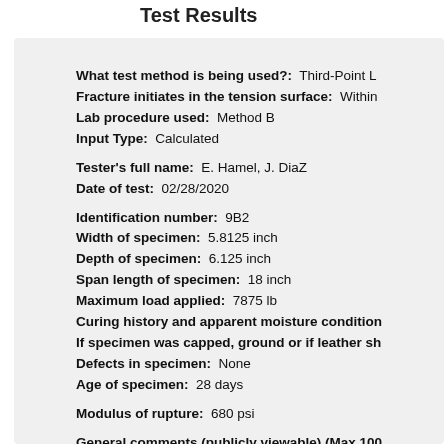Test Results
What test method is being used?: Third-Point L...
Fracture initiates in the tension surface: Within...
Lab procedure used: Method B
Input Type: Calculated
Tester's full name: E. Hamel, J. DiaZ
Date of test: 02/28/2020
Identification number: 9B2
Width of specimen: 5.8125 inch
Depth of specimen: 6.125 inch
Span length of specimen: 18 inch
Maximum load applied: 7875 lb
Curing history and apparent moisture condition...
If specimen was capped, ground or if leather sh...
Defects in specimen: None
Age of specimen: 28 days
Modulus of rupture: 680 psi
General comments (publicly viewable) (Max 100...